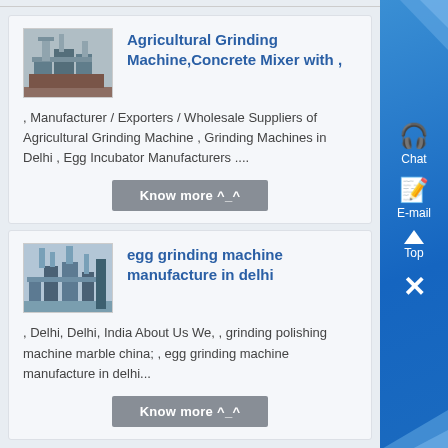[Figure (screenshot): Product listing card 1: Agricultural Grinding Machine with thumbnail image of industrial equipment]
Agricultural Grinding Machine,Concrete Mixer with ,
, Manufacturer / Exporters / Wholesale Suppliers of Agricultural Grinding Machine , Grinding Machines in Delhi , Egg Incubator Manufacturers ....
[Figure (screenshot): Product listing card 2: egg grinding machine manufacture in delhi with thumbnail image of industrial equipment]
egg grinding machine manufacture in delhi
, Delhi, Delhi, India About Us We, , grinding polishing machine marble china; , egg grinding machine manufacture in delhi...